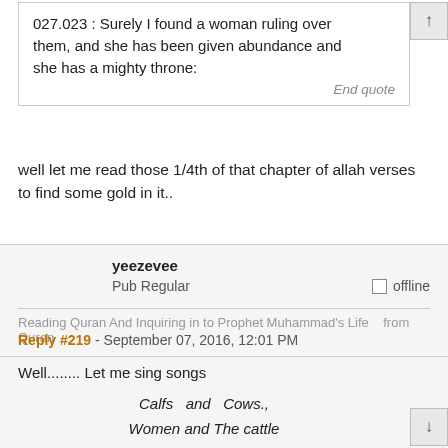027.023 : Surely I found a woman ruling over them, and she has been given abundance and she has a mighty throne:
End quote
well let me read those 1/4th of that chapter of allah verses to find some gold in it..
yeezevee
Pub Regular
offline
Reading Quran And Inquiring in to Prophet Muhammad's Life   from Quran
Reply #219 - September 07, 2016, 12:01 PM
Well........ Let me sing songs
Calfs  and  Cows.,
Women and The cattle
Wars and Thunder
Bees and Caves
Let me sing sonnets
let me sing songs